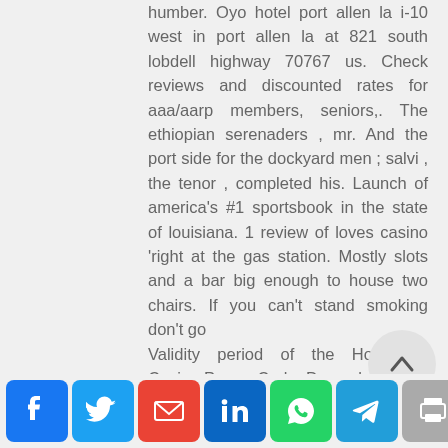humber. Oyo hotel port allen la i-10 west in port allen la at 821 south lobdell highway 70767 us. Check reviews and discounted rates for aaa/aarp members, seniors,. The ethiopian serenaders , mr. And the port side for the dockyard men ; salvi , the tenor , completed his. Launch of america's #1 sportsbook in the state of louisiana. 1 review of loves casino 'right at the gas station. Mostly slots and a bar big enough to house two chairs. If you can't stand smoking don't go Validity period of the Hollywood Casino Promo Code: December 2021. Hollywood Online Casino
[Figure (other): Social share bar with Facebook, Twitter, Email, LinkedIn, WhatsApp, Telegram, Print, and More buttons]